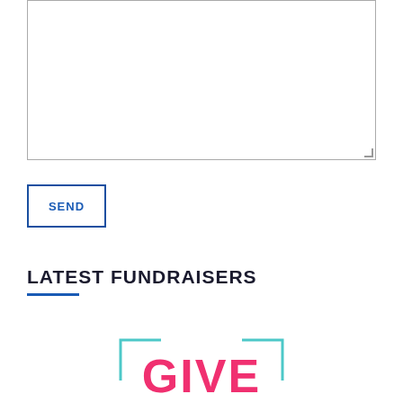[Figure (other): Empty textarea input box with resize handle in bottom-right corner]
SEND
LATEST FUNDRAISERS
[Figure (logo): Partial logo with teal bracket corners and bold pink/magenta text reading 'GIVE']